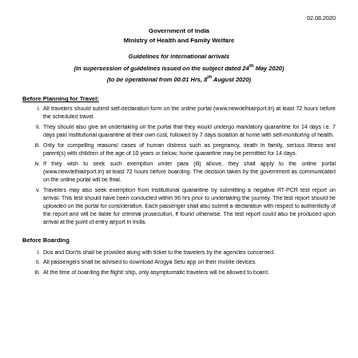02.08.2020
Government of India
Ministry of Health and Family Welfare
Guidelines for international arrivals
(in supersession of guidelines issued on the subject dated 24th May 2020)
(to be operational from 00.01 Hrs, 8th August 2020)
Before Planning for Travel:
All travelers should submit self-declaration form on the online portal (www.newdelhiairport.in) at least 72 hours before the scheduled travel.
They should also give an undertaking on the portal that they would undergo mandatory quarantine for 14 days i.e. 7 days paid institutional quarantine at their own cost, followed by 7 days isolation at home with self-monitoring of health.
Only for compelling reasons/ cases of human distress such as pregnancy, death in family, serious illness and parent(s) with children of the age of 10 years or below, home quarantine may be permitted for 14 days.
If they wish to seek such exemption under para (iii) above, they shall apply to the online portal (www.newdelhiairport.in) at least 72 hours before boarding. The decision taken by the government as communicated on the online portal will be final.
Travelers may also seek exemption from institutional quarantine by submitting a negative RT-PCR test report on arrival. This test should have been conducted within 96 hrs prior to undertaking the journey. The test report should be uploaded on the portal for consideration. Each passenger shall also submit a declaration with respect to authenticity of the report and will be liable for criminal prosecution, if found otherwise. The test report could also be produced upon arrival at the point of entry airport in India.
Before Boarding
Dos and Don'ts shall be provided along with ticket to the travelers by the agencies concerned.
All passengers shall be advised to download Arogya Setu app on their mobile devices.
At the time of boarding the flight/ ship, only asymptomatic travelers will be allowed to board.